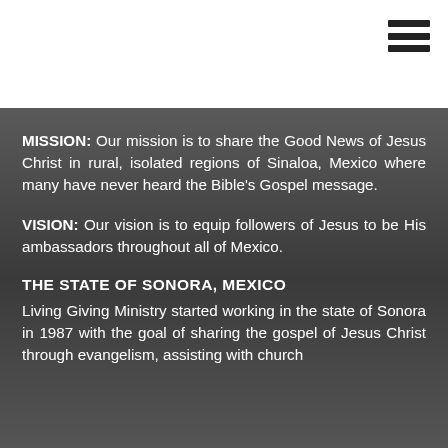[Figure (other): Hamburger menu icon (three horizontal lines) in top right corner of white header bar]
MISSION: Our mission is to share the Good News of Jesus Christ in rural, isolated regions of Sinaloa, Mexico where many have never heard the Bible's Gospel message.
VISION: Our vision is to equip followers of Jesus to be His ambassadors throughout all of Mexico.
THE STATE OF SONORA, MEXICO
Living Giving Ministry started working in the state of Sonora in 1987 with the goal of sharing the gospel of Jesus Christ through evangelism, assisting with church